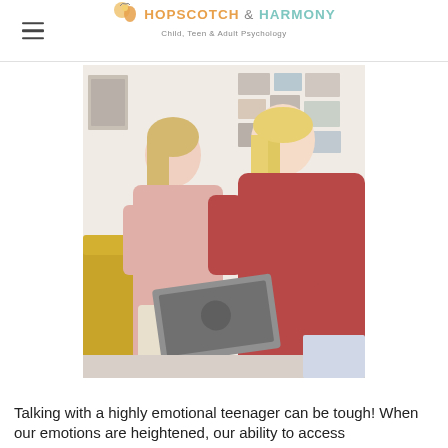HOPSCOTCH & HARMONY — Child, Teen & Adult Psychology
[Figure (photo): Two women, one older in a pink blouse and one younger teenager in a dark red/maroon hoodie with long blonde hair, sitting together looking at a laptop in a bedroom with photos pinned on the wall behind them.]
Talking with a highly emotional teenager can be tough! When our emotions are heightened, our ability to access